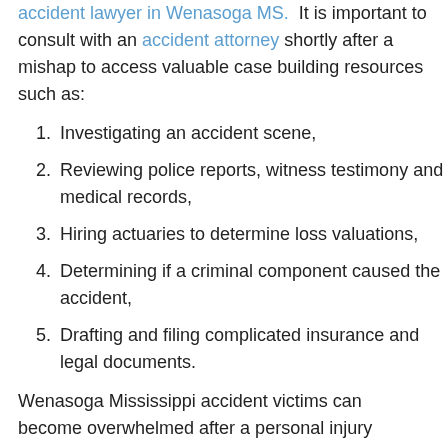accident lawyer in Wenasoga MS. It is important to consult with an accident attorney shortly after a mishap to access valuable case building resources such as:
Investigating an accident scene,
Reviewing police reports, witness testimony and medical records,
Hiring actuaries to determine loss valuations,
Determining if a criminal component caused the accident,
Drafting and filing complicated insurance and legal documents.
Wenasoga Mississippi accident victims can become overwhelmed after a personal injury accident due to the sudden and unplanned series of events that may